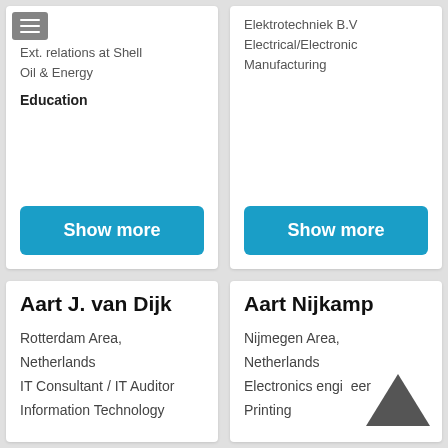Ext. relations at Shell
Oil & Energy
Elektrotechniek B.V
Electrical/Electronic Manufacturing
Education
Show more
Show more
Aart J. van Dijk
Aart Nijkamp
Rotterdam Area, Netherlands
IT Consultant / IT Auditor
Information Technology
Nijmegen Area, Netherlands
Electronics engineer
Printing